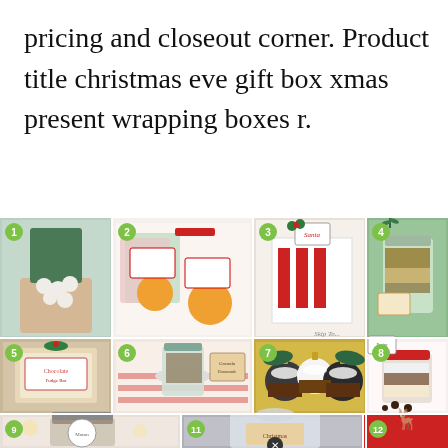pricing and closeout corner. Product title christmas eve gift box xmas present wrapping boxes r.
[Figure (photo): A collage grid of 12 numbered Christmas food gift images including gift bags, mason jars with layered ingredients, ornament hot cocoa kits, wrapped treat bags, and holiday-themed packaging.]